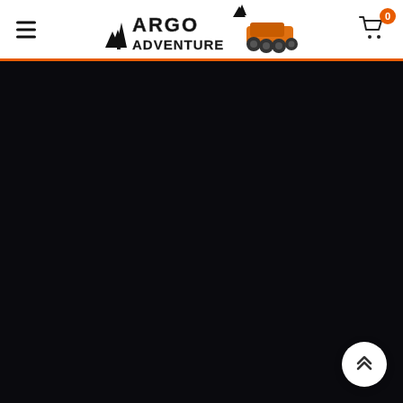Argo Adventure – site header with navigation menu icon, logo, and shopping cart with 0 items
[Figure (screenshot): Dark/black full-width hero section below the header, nearly entirely black with no visible content]
[Figure (other): White circular scroll-to-top button in bottom-right corner with double upward chevron arrows]